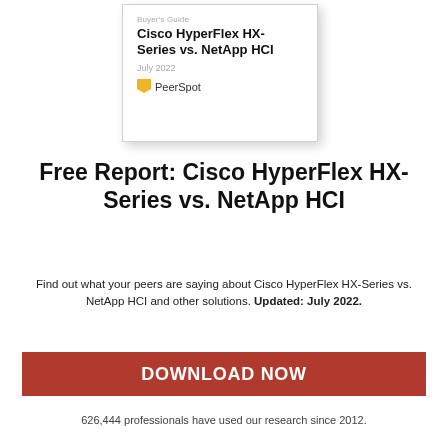[Figure (illustration): Book/report cover mockup showing 'Buyer's Guide: Cisco HyperFlex HX-Series vs. NetApp HCI, July 2022' with PeerSpot logo]
Free Report: Cisco HyperFlex HX-Series vs. NetApp HCI
Find out what your peers are saying about Cisco HyperFlex HX-Series vs. NetApp HCI and other solutions. Updated: July 2022.
DOWNLOAD NOW
626,444 professionals have used our research since 2012.